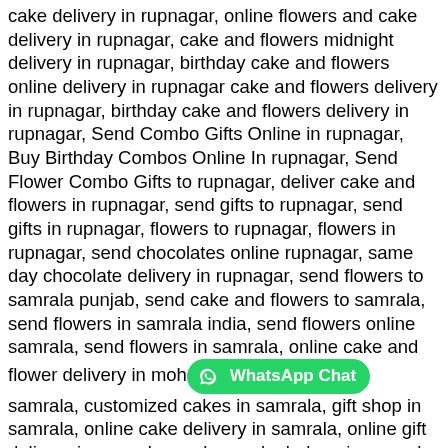cake delivery in rupnagar, online flowers and cake delivery in rupnagar, cake and flowers midnight delivery in rupnagar, birthday cake and flowers online delivery in rupnagar cake and flowers delivery in rupnagar, birthday cake and flowers delivery in rupnagar, Send Combo Gifts Online in rupnagar, Buy Birthday Combos Online In rupnagar, Send Flower Combo Gifts to rupnagar, deliver cake and flowers in rupnagar, send gifts to rupnagar, send gifts in rupnagar, flowers to rupnagar, flowers in rupnagar, send chocolates online rupnagar, same day chocolate delivery in rupnagar, send flowers to samrala punjab, send cake and flowers to samrala, send flowers in samrala india, send flowers online samrala, send flowers in samrala, online cake and flower delivery in mohali samrala, customized cakes in samrala, gift shop in samrala, online cake delivery in samrala, online gift delivery in samrala, eggless cake bakery in samrala, online birthday gifts delivery in samrala, photo cake price in samrala, online cake delivery in samrala online chocolate delivery in samrala, surprise gift delivery in samrala, online cake and gifts delivery in samrala, surprise gift delivery in samrala, online cake delivery in samrala, cake shop in samrala, cake shop near me, cake shop near samrala, order cake online samrala, order cake in samrala, order cake online near me, birthday cake in samrala, order cake samrala, birthday cakes samrala, birthday cakes delivery samrala, send birthday cake to samrala india order cakes